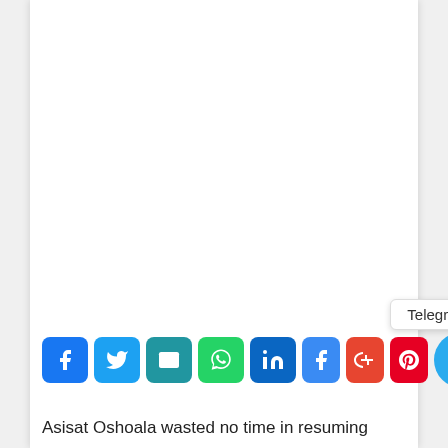[Figure (screenshot): Social media share buttons row: Facebook, Twitter, Email, WhatsApp, LinkedIn, Facebook (partial), Google+ (partial), Pinterest (partial), and Telegram (with tooltip showing 'Telegram')]
Asisat Oshoala wasted no time in resuming